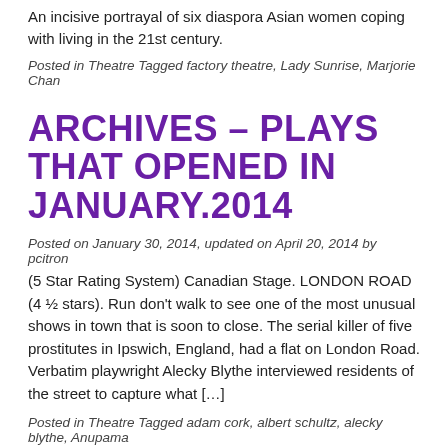An incisive portrayal of six diaspora Asian women coping with living in the 21st century.
Posted in Theatre Tagged factory theatre, Lady Sunrise, Marjorie Chan
ARCHIVES – PLAYS THAT OPENED IN JANUARY.2014
Posted on January 30, 2014, updated on April 20, 2014 by pcitron
(5 Star Rating System) Canadian Stage. LONDON ROAD (4 ½ stars). Run don't walk to see one of the most unusual shows in town that is soon to close. The serial killer of five prostitutes in Ipswich, England, had a flat on London Road. Verbatim playwright Alecky Blythe interviewed residents of the street to capture what […]
Posted in Theatre Tagged adam cork, albert schultz, alecky blythe, Anupama